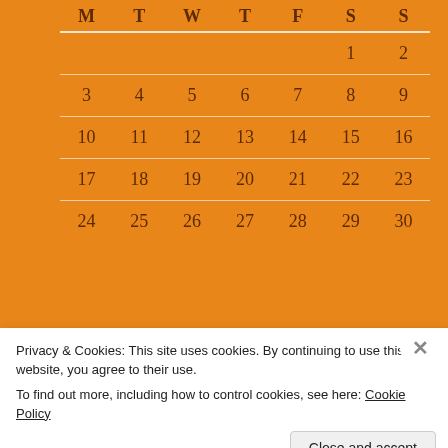| M | T | W | T | F | S | S |
| --- | --- | --- | --- | --- | --- | --- |
|  |  |  |  |  | 1 | 2 |
| 3 | 4 | 5 | 6 | 7 | 8 | 9 |
| 10 | 11 | 12 | 13 | 14 | 15 | 16 |
| 17 | 18 | 19 | 20 | 21 | 22 | 23 |
| 24 | 25 | 26 | 27 | 28 | 29 | 30 |
« Oct   Dec »
POSTING TERRARII
Privacy & Cookies: This site uses cookies. By continuing to use this website, you agree to their use.
To find out more, including how to control cookies, see here: Cookie Policy
Close and accept